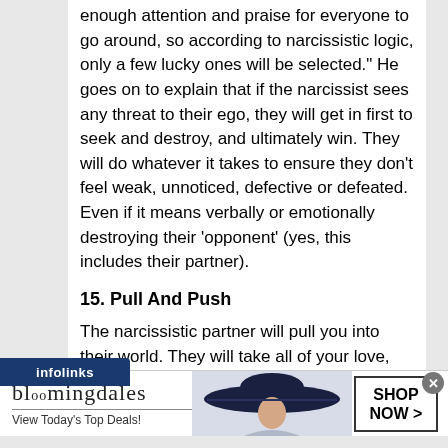enough attention and praise for everyone to go around, so according to narcissistic logic, only a few lucky ones will be selected." He goes on to explain that if the narcissist sees any threat to their ego, they will get in first to seek and destroy, and ultimately win. They will do whatever it takes to ensure they don't feel weak, unnoticed, defective or defeated. Even if it means verbally or emotionally destroying their 'opponent' (yes, this includes their partner).
15. Pull And Push
The narcissistic partner will pull you into their world. They will take all of your love, money and
[Figure (screenshot): Bloomingdales advertisement banner with woman in wide-brim hat and 'SHOP NOW >' button. Text reads 'bloomingdales' and 'View Today's Top Deals!']
infolinks